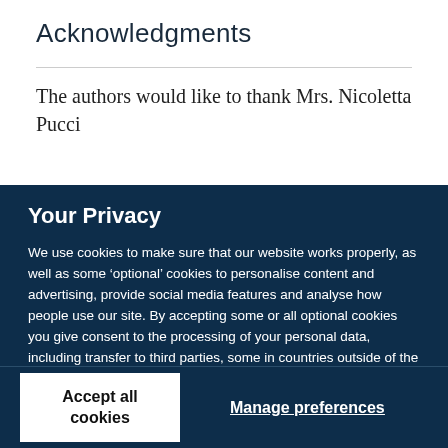Acknowledgments
The authors would like to thank Mrs. Nicoletta Pucci
Your Privacy
We use cookies to make sure that our website works properly, as well as some ‘optional’ cookies to personalise content and advertising, provide social media features and analyse how people use our site. By accepting some or all optional cookies you give consent to the processing of your personal data, including transfer to third parties, some in countries outside of the European Economic Area that do not offer the same data protection standards as the country where you live. You can decide which optional cookies to accept by clicking on ‘Manage Settings’, where you can also find more information about how your personal data is processed. Further information can be found in our privacy policy.
Accept all cookies
Manage preferences